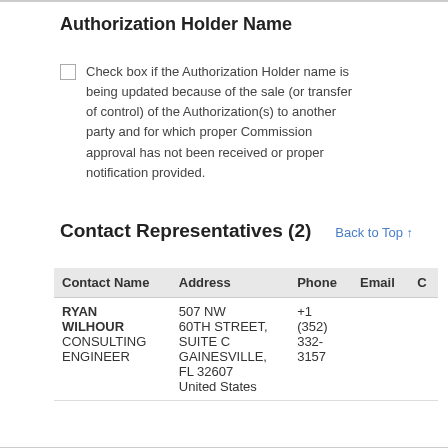Authorization Holder Name
Check box if the Authorization Holder name is being updated because of the sale (or transfer of control) of the Authorization(s) to another party and for which proper Commission approval has not been received or proper notification provided.
Contact Representatives (2)
Back to Top ↑
| Contact Name | Address | Phone | Email | C |
| --- | --- | --- | --- | --- |
| RYAN
WILHOUR
CONSULTING
ENGINEER | 507 NW
60TH STREET,
SUITE C
GAINESVILLE,
FL 32607
United States | +1
(352)
332-
3157 |  |  |